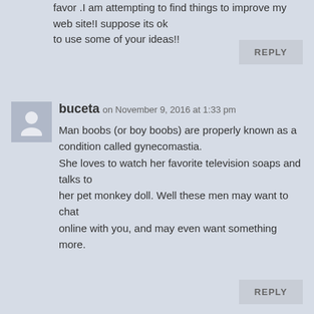favor .I am attempting to find things to improve my web site!I suppose its ok to use some of your ideas!!
REPLY
buceta on November 9, 2016 at 1:33 pm
Man boobs (or boy boobs) are properly known as a condition called gynecomastia.
She loves to watch her favorite television soaps and talks to
her pet monkey doll. Well these men may want to chat
online with you, and may even want something more.
REPLY